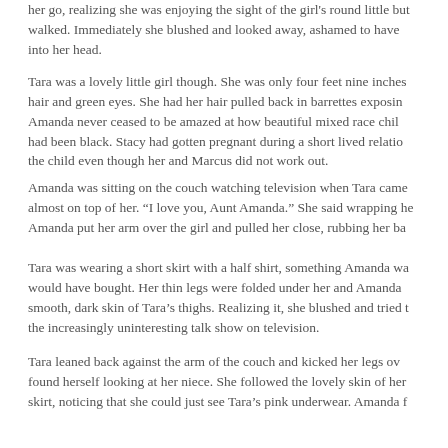her go, realizing she was enjoying the sight of the girl's round little but walked. Immediately she blushed and looked away, ashamed to have into her head.
Tara was a lovely little girl though. She was only four feet nine inches hair and green eyes. She had her hair pulled back in barrettes exposin Amanda never ceased to be amazed at how beautiful mixed race chil had been black. Stacy had gotten pregnant during a short lived relatio the child even though her and Marcus did not work out.
Amanda was sitting on the couch watching television when Tara came almost on top of her. “I love you, Aunt Amanda.” She said wrapping he Amanda put her arm over the girl and pulled her close, rubbing her ba
Tara was wearing a short skirt with a half shirt, something Amanda wa would have bought. Her thin legs were folded under her and Amanda smooth, dark skin of Tara’s thighs. Realizing it, she blushed and tried t the increasingly uninteresting talk show on television.
Tara leaned back against the arm of the couch and kicked her legs ov found herself looking at her niece. She followed the lovely skin of her skirt, noticing that she could just see Tara’s pink underwear. Amanda f